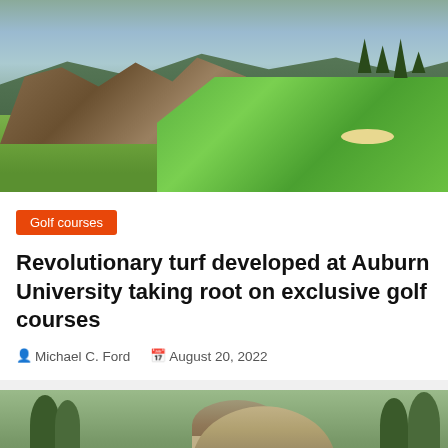[Figure (photo): Aerial view of a dramatic golf course green perched on a rocky cliff overlooking a verdant valley with mountains in the background and trees on the right]
Golf courses
Revolutionary turf developed at Auburn University taking root on exclusive golf courses
Michael C. Ford   August 20, 2022
[Figure (photo): Close-up of a person wearing a camouflage bucket hat on a golf course with trees in the background]